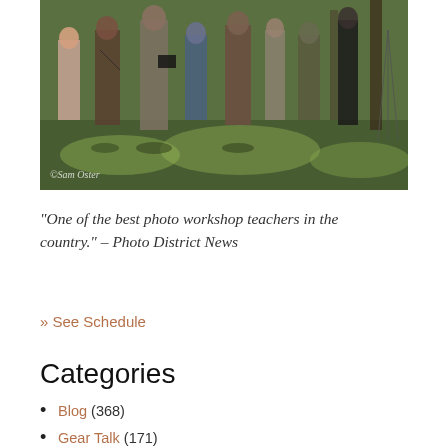[Figure (photo): Group of photographers outdoors in a wooded area, several people with cameras, dappled sunlight, watermark reads '© Sam Oster']
“One of the best photo workshop teachers in the country.” – Photo District News
» See Schedule
Categories
Blog (368)
Gear Talk (171)
In The News (77)